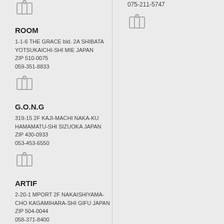[Figure (illustration): Map icon (top left, partial)]
[Figure (illustration): Map icon (top right, partial)]
075-211-5747
ROOM
1-1-6 THE GRACE bld. 2A SHIBATA YOTSUKAICHI-SHI MIE JAPAN
ZIP 510-0075
059-351-8833
[Figure (illustration): Map icon]
G.O.N.G
319-15 2F KAJI-MACHI NAKA-KU HAMAMATU-SHI SIZUOKA JAPAN
ZIP 430-0933
053-453-6550
[Figure (illustration): Map icon]
ARTIF
2-20-1 MPORT 2F NAKAISHIYAMA-CHO KAGAMIHARA-SHI GIFU JAPAN
ZIP 504-0044
058-371-8400
[Figure (illustration): Map icon]